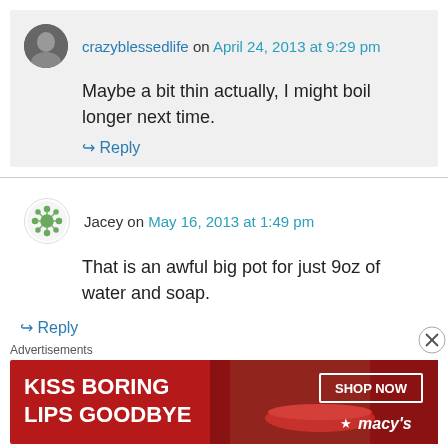crazyblessedlife on April 24, 2013 at 9:29 pm
Maybe a bit thin actually, I might boil longer next time.
↳ Reply
Jacey on May 16, 2013 at 1:49 pm
That is an awful big pot for just 9oz of water and soap.
↳ Reply
Advertisements
[Figure (illustration): Macy's advertisement banner: KISS BORING LIPS GOODBYE with SHOP NOW button and Macy's star logo, red background with woman's face]